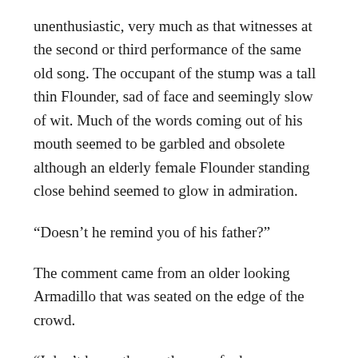unenthusiastic, very much as that witnesses at the second or third performance of the same old song. The occupant of the stump was a tall thin Flounder, sad of face and seemingly slow of wit. Much of the words coming out of his mouth seemed to be garbled and obsolete although an elderly female Flounder standing close behind seemed to glow in admiration.
“Doesn’t he remind you of his father?”
The comment came from an older looking Armadillo that was seated on the edge of the crowd.
“I don’t know the gentleman of whom you speak I must admit.”
The Armadillo looked Alice up and down dismissively.